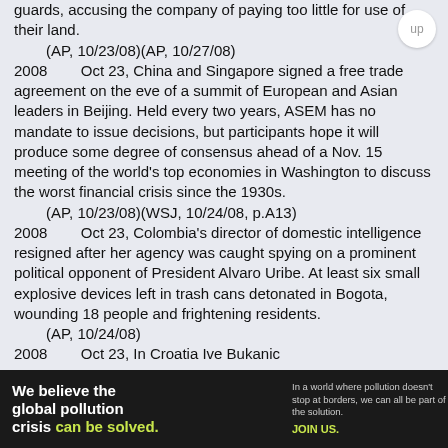guards, accusing the company of paying too little for use of their land.
    (AP, 10/23/08)(AP, 10/27/08)
2008        Oct 23, China and Singapore signed a free trade agreement on the eve of a summit of European and Asian leaders in Beijing. Held every two years, ASEM has no mandate to issue decisions, but participants hope it will produce some degree of consensus ahead of a Nov. 15 meeting of the world's top economies in Washington to discuss the worst financial crisis since the 1930s.
    (AP, 10/23/08)(WSJ, 10/24/08, p.A13)
2008        Oct 23, Colombia's director of domestic intelligence resigned after her agency was caught spying on a prominent political opponent of President Alvaro Uribe. At least six small explosive devices left in trash cans detonated in Bogota, wounding 18 people and frightening residents.
    (AP, 10/24/08)
2008        Oct 23, In Croatia Ive Bukanic
[Figure (infographic): Pure Earth advertisement banner. Black background. Left: bold white text 'We believe the global pollution crisis' with 'can be solved.' in yellow-green. Middle: small white/grey text 'In a world where pollution doesn't stop at borders, we can all be part of the solution.' with 'JOIN US.' in yellow-green. Right: Pure Earth logo (gold/orange diamond with downward arrow) and bold white text 'PURE EARTH'.]